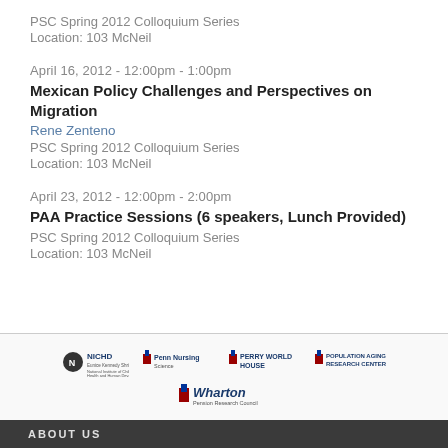PSC Spring 2012 Colloquium Series
Location: 103 McNeil
April 16, 2012 - 12:00pm - 1:00pm
Mexican Policy Challenges and Perspectives on Migration
Rene Zenteno
PSC Spring 2012 Colloquium Series
Location: 103 McNeil
April 23, 2012 - 12:00pm - 2:00pm
PAA Practice Sessions (6 speakers, Lunch Provided)
PSC Spring 2012 Colloquium Series
Location: 103 McNeil
[Figure (logo): Logos: NICHD, Penn Nursing Science, Perry World House, Population Aging Research Center, Wharton Pension Research Council]
ABOUT US